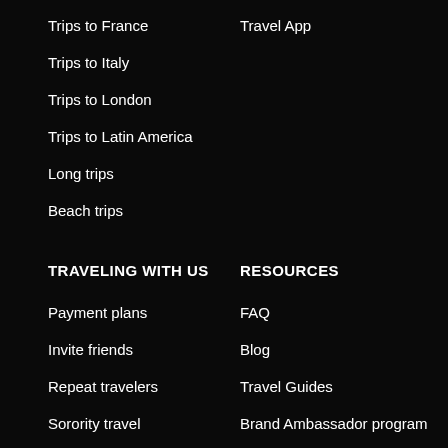Trips to France
Trips to Italy
Trips to London
Trips to Latin America
Long trips
Beach trips
Travel App
TRAVELING WITH US
RESOURCES
Payment plans
FAQ
Invite friends
Blog
Repeat travelers
Travel Guides
Sorority travel
Brand Ambassador program
College travel
Store
Reviews